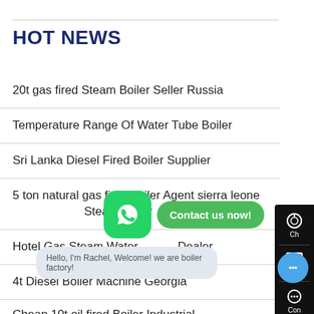HOT NEWS
20t gas fired Steam Boiler Seller Russia
Temperature Range Of Water Tube Boiler
Sri Lanka Diesel Fired Boiler Supplier
5 ton natural gas fired boiler Agent sierra leone Steam Boiler
Hotel Gas Steam Water Dealer
4t Diesel Boiler Machine Georgia
Cheap 10t oil fired Boiler Industrial
[Figure (screenshot): WhatsApp contact button and 'Contact us now!' bubble overlay on the page]
[Figure (screenshot): Chat popup with message: Hello, I'm Rachel, Welcome! we are boiler factory!]